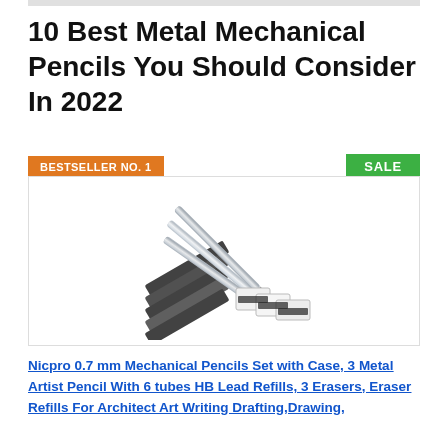10 Best Metal Mechanical Pencils You Should Consider In 2022
BESTSELLER NO. 1
SALE
[Figure (photo): Nicpro 0.7 mm mechanical pencils set showing 3 metal pencils with lead refill tubes and erasers]
Nicpro 0.7 mm Mechanical Pencils Set with Case, 3 Metal Artist Pencil With 6 tubes HB Lead Refills, 3 Erasers, Eraser Refills For Architect Art Writing Drafting,Drawing,